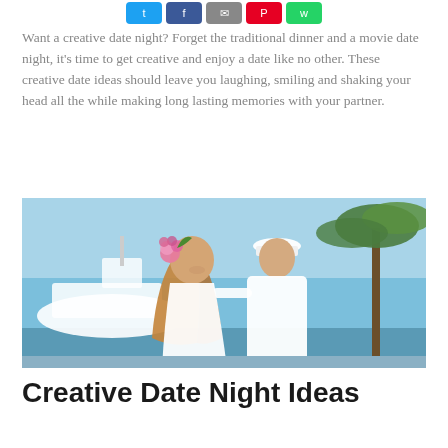[Figure (other): Row of social media sharing icon buttons: Twitter, Facebook, Email/envelope, Pinterest, WhatsApp]
Want a creative date night? Forget the traditional dinner and a movie date night, it's time to get creative and enjoy a date like no other. These creative date ideas should leave you laughing, smiling and shaking your head all the while making long lasting memories with your partner.
[Figure (photo): A couple dressed in white standing outdoors at a marina. The woman has long hair with a pink flower crown and is smiling, and the man wears a white hat and linen shirt. Palm trees and a white yacht are visible in the background under a blue sky.]
Creative Date Night Ideas